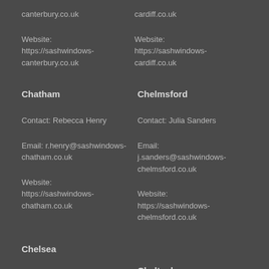canterbury.co.uk
cardiff.co.uk
Website: https://sashwindows-canterbury.co.uk
Website: https://sashwindows-cardiff.co.uk
Chatham
Chelmsford
Contact: Rebecca Henry
Contact: Julia Sanders
Email: r.henry@sashwindows-chatham.co.uk
Email: j.sanders@sashwindows-chelmsford.co.uk
Website: https://sashwindows-chatham.co.uk
Website: https://sashwindows-chelmsford.co.uk
Chelsea
Cheltenham
Contact: Kathryn Roberts